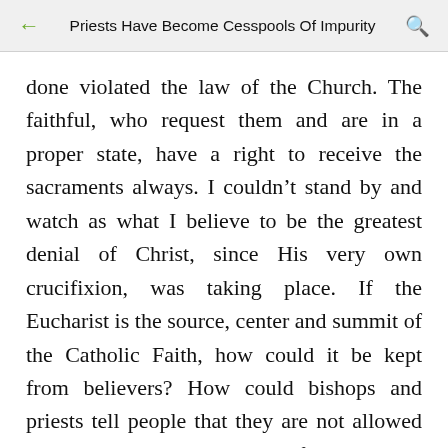Priests Have Become Cesspools Of Impurity
done violated the law of the Church. The faithful, who request them and are in a proper state, have a right to receive the sacraments always. I couldn't stand by and watch as what I believe to be the greatest denial of Christ, since His very own crucifixion, was taking place. If the Eucharist is the source, center and summit of the Catholic Faith, how could it be kept from believers? How could bishops and priests tell people that they are not allowed to receive Jesus?!? What father would deprive his children their daily bread? It goes